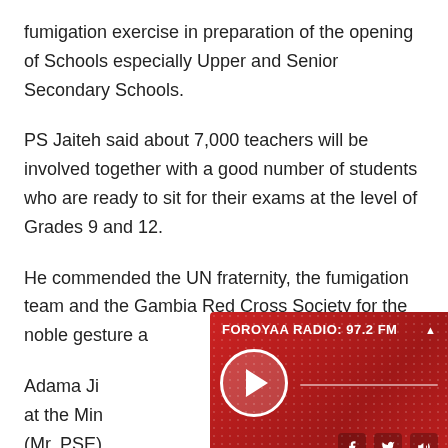fumigation exercise in preparation of the opening of Schools especially Upper and Senior Secondary Schools.
PS Jaiteh said about 7,000 teachers will be involved together with a good number of students who are ready to sit for their exams at the level of Grades 9 and 12.
He commended the UN fraternity, the fumigation team and the Gambia Red Cross Society for the noble gesture a...
Adama Ji... at the Min... (Mr. PSE)
[Figure (screenshot): FOROYAA RADIO: 97.2 FM radio player overlay with red background, play button, progress bar, and social media icons (Facebook, Twitter, speaker)]